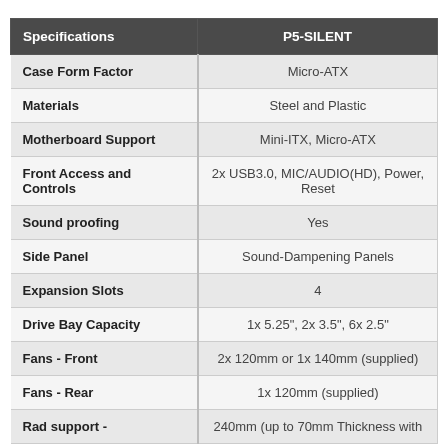| Specifications | P5-SILENT |
| --- | --- |
| Case Form Factor | Micro-ATX |
| Materials | Steel and Plastic |
| Motherboard Support | Mini-ITX, Micro-ATX |
| Front Access and Controls | 2x USB3.0, MIC/AUDIO(HD), Power, Reset |
| Sound proofing | Yes |
| Side Panel | Sound-Dampening Panels |
| Expansion Slots | 4 |
| Drive Bay Capacity | 1x 5.25", 2x 3.5", 6x 2.5" |
| Fans - Front | 2x 120mm or 1x 140mm (supplied) |
| Fans - Rear | 1x 120mm (supplied) |
| Rad support - | 240mm (up to 70mm Thickness with |